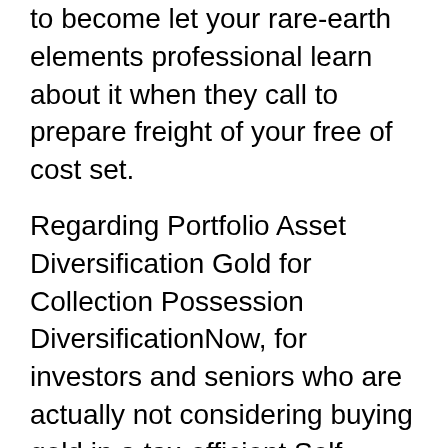to become let your rare-earth elements professional learn about it when they call to prepare freight of your free of cost set.
Regarding Portfolio Asset Diversification Gold for Collection Possession DiversificationNow, for investors and seniors who are actually not considering buying gold in a tax-efficient Self-Directed individual retirement account, Goldco gives expert advice in regards to the appropriate diversity of one's assets profile and also as mentioned previously, offer Non-IRA precious metals to their consumers.
Gold Group
Their strongly experienced, qualified group